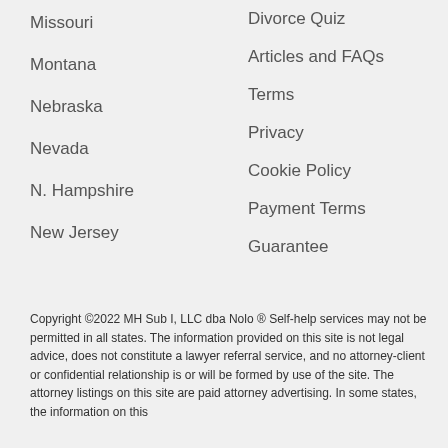Missouri
Divorce Quiz
Montana
Articles and FAQs
Nebraska
Terms
Nevada
Privacy
N. Hampshire
Cookie Policy
New Jersey
Payment Terms
Guarantee
Copyright ©2022 MH Sub I, LLC dba Nolo ® Self-help services may not be permitted in all states. The information provided on this site is not legal advice, does not constitute a lawyer referral service, and no attorney-client or confidential relationship is or will be formed by use of the site. The attorney listings on this site are paid attorney advertising. In some states, the information on this